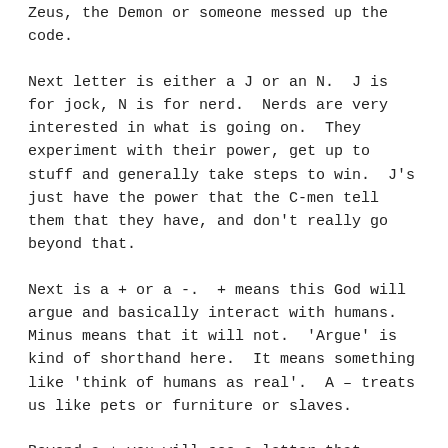Zeus, the Demon or someone messed up the code.
Next letter is either a J or an N.  J is for jock, N is for nerd.  Nerds are very interested in what is going on.  They experiment with their power, get up to stuff and generally take steps to win.  J's just have the power that the C-men tell them that they have, and don't really go beyond that.
Next is a + or a -.  + means this God will argue and basically interact with humans.  Minus means that it will not.  'Argue' is kind of shorthand here.  It means something like 'think of humans as real'.  A – treats us like pets or furniture or slaves.
Beyond a + you will see a letter that represents how